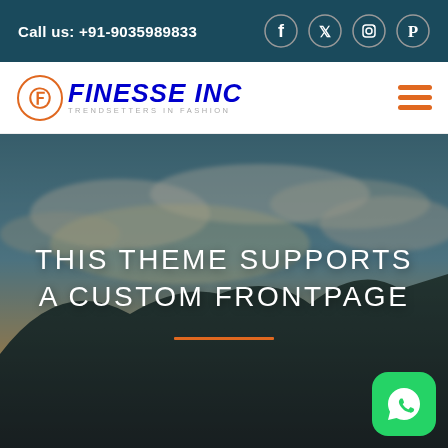Call us: +91-9035989833
[Figure (logo): Finesse Inc logo with circular icon and tagline TRENDSETTERS IN FASHION]
[Figure (photo): Mountain landscape with clouds and dramatic sky, hero banner image]
THIS THEME SUPPORTS A CUSTOM FRONTPAGE
[Figure (logo): WhatsApp floating action button, green rounded square with phone icon]